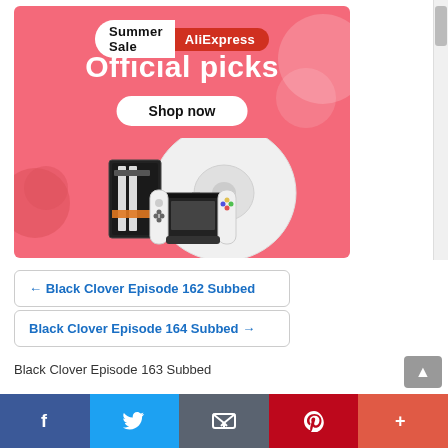[Figure (illustration): AliExpress Summer Sale advertisement banner with pink background, 'Summer Sale AliExpress' badge, 'Official picks' heading, 'Shop now' button, and product images including a robot vacuum, Nintendo Switch, and a smartphone/graphics card box.]
← Black Clover Episode 162 Subbed
Black Clover Episode 164 Subbed →
Black Clover Episode 163 Subbed
[Figure (infographic): Social sharing bar with Facebook, Twitter, Email, Pinterest, and More (+) buttons]